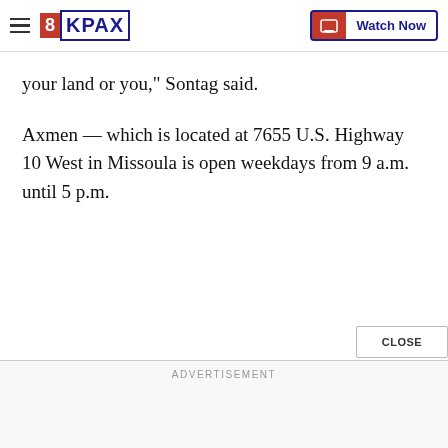8KPAX | Watch Now
your land or you," Sontag said.
Axmen — which is located at 7655 U.S. Highway 10 West in Missoula is open weekdays from 9 a.m. until 5 p.m.
ADVERTISEMENT